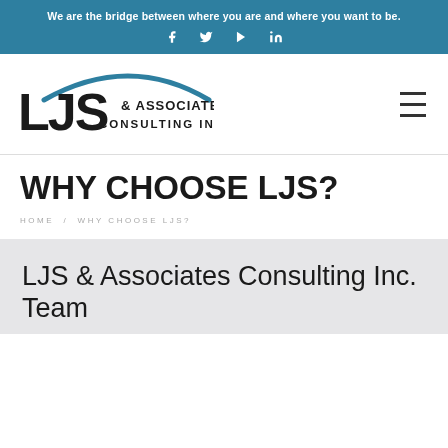We are the bridge between where you are and where you want to be.
[Figure (logo): LJS & Associates Consulting Inc. logo with blue arc above letters LJS]
WHY CHOOSE LJS?
HOME / WHY CHOOSE LJS?
LJS & Associates Consulting Inc. Team